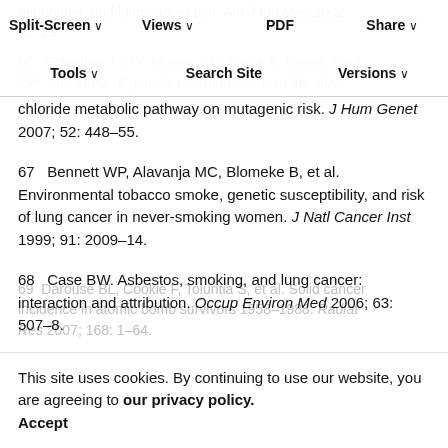Split-Screen  Views  PDF  Share  Tools  Search Site  Versions
genotypes, and lung cancer risk. Am J Ind Med 2002; 42: 29...
66  Schindler J, U Y, Monton MJ, Parok A, Brandt-Rauf PW. The effect of genetic polymorphisms in the vinyl chloride metabolic pathway on mutagenic risk. J Hum Genet 2007; 52: 448–55.
67  Bennett WP, Alavanja MC, Blomeke B, et al. Environmental tobacco smoke, genetic susceptibility, and risk of lung cancer in never-smoking women. J Natl Cancer Inst 1999; 91: 2009–14.
68  Case BW. Asbestos, smoking, and lung cancer: interaction and attribution. Occup Environ Med 2006; 63: 507–8.
This site uses cookies. By continuing to use our website, you are agreeing to our privacy policy. Accept